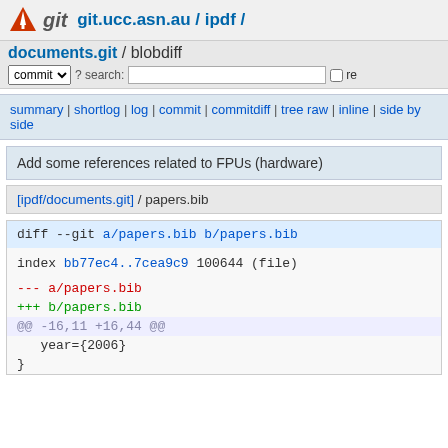git  git.ucc.asn.au / ipdf /
documents.git / blobdiff
commit ? search: re
summary | shortlog | log | commit | commitdiff | tree raw | inline | side by side
Add some references related to FPUs (hardware)
[ipdf/documents.git] / papers.bib
diff --git a/papers.bib b/papers.bib
index bb77ec4..7cea9c9 100644 (file)
--- a/papers.bib
+++ b/papers.bib
@@ -16,11 +16,44 @@
   year={2006}
}